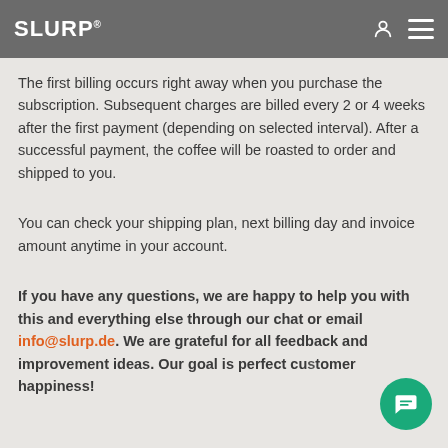SLURP®
The first billing occurs right away when you purchase the subscription. Subsequent charges are billed every 2 or 4 weeks after the first payment (depending on selected interval). After a successful payment, the coffee will be roasted to order and shipped to you.
You can check your shipping plan, next billing day and invoice amount anytime in your account.
If you have any questions, we are happy to help you with this and everything else through our chat or email info@slurp.de. We are grateful for all feedback and improvement ideas. Our goal is perfect customer happiness!